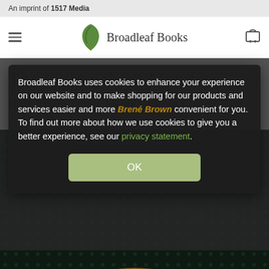An imprint of 1517 Media
[Figure (logo): Broadleaf Books logo with green leaf icon and text 'Broadleaf Books']
The Lightmaker's Manifesto
How to Work for Change without Losing Your Joy
Broadleaf Books uses cookies to enhance your experience on our website and to make shopping for our products and services easier and more convenient for you. To find out more about how we use cookies to give you a better experience, see our privacy statement.